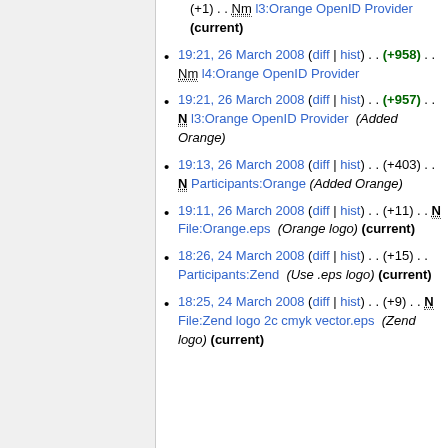(+1) .. Nm l3:Orange OpenID Provider (current)
19:21, 26 March 2008 (diff | hist) .. (+958) .. Nm l4:Orange OpenID Provider
19:21, 26 March 2008 (diff | hist) .. (+957) .. N l3:Orange OpenID Provider (Added Orange)
19:13, 26 March 2008 (diff | hist) .. (+403) .. N Participants:Orange (Added Orange)
19:11, 26 March 2008 (diff | hist) .. (+11) .. N File:Orange.eps (Orange logo) (current)
18:26, 24 March 2008 (diff | hist) .. (+15) .. Participants:Zend (Use .eps logo) (current)
18:25, 24 March 2008 (diff | hist) .. (+9) .. N File:Zend logo 2c cmyk vector.eps (Zend logo) (current)